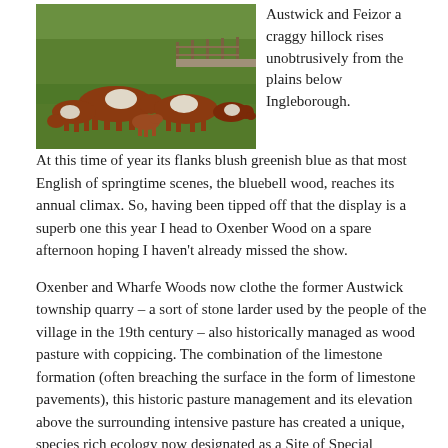[Figure (photo): Hereford cattle grazing on a green pasture field with a fence and stone wall in the background.]
Austwick and Feizor a craggy hillock rises unobtrusively from the plains below Ingleborough.  At this time of year its flanks blush greenish blue as that most English of springtime scenes, the bluebell wood, reaches its annual climax.  So, having been tipped off that the display is a superb one this year I head to Oxenber Wood on a spare afternoon hoping I haven't already missed the show.
Oxenber and Wharfe Woods now clothe the former Austwick township quarry – a sort of stone larder used by the people of the village in the 19th century – also historically managed as wood pasture with coppicing.  The combination of the limestone formation (often breaching the surface in the form of limestone pavements), this historic pasture management and its elevation above the surrounding intensive pasture has created a unique, species rich ecology now designated as a Site of Special Scientific Interest (SSSI).  Marvellously, it's also one which the public can enjoy via a good network of waymarked paths.